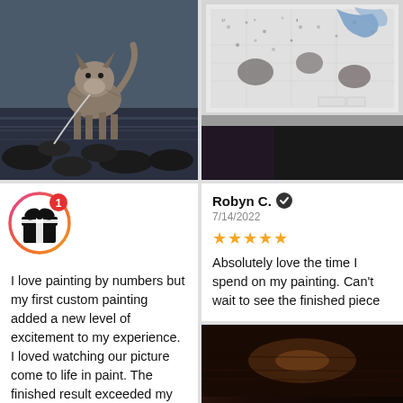[Figure (photo): Dog (husky/wolf-like) standing on rocks near water, on a leash]
[Figure (infographic): Gift box icon in a gradient circle (pink/orange) with red notification badge showing '1']
I love painting by numbers but my first custom painting added a new level of excitement to my experience. I loved watching our picture come to life in paint. The finished result exceeded my expectations. The
[Figure (photo): Paint-by-numbers artwork in progress showing a detailed pencil-sketch style image with some blue and dark paint colors, on a white canvas on a gray surface, lower portion dark/black]
Robyn C. ✓
7/14/2022
★★★★★
Absolutely love the time I spend on my painting. Can't wait to see the finished piece
[Figure (photo): Dark brown/amber photo, appears to show a wooden surface or table, very dark lighting]